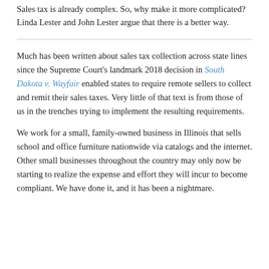Sales tax is already complex. So, why make it more complicated? Linda Lester and John Lester argue that there is a better way.
Much has been written about sales tax collection across state lines since the Supreme Court's landmark 2018 decision in South Dakota v. Wayfair enabled states to require remote sellers to collect and remit their sales taxes. Very little of that text is from those of us in the trenches trying to implement the resulting requirements.
We work for a small, family-owned business in Illinois that sells school and office furniture nationwide via catalogs and the internet. Other small businesses throughout the country may only now be starting to realize the expense and effort they will incur to become compliant. We have done it, and it has been a nightmare.